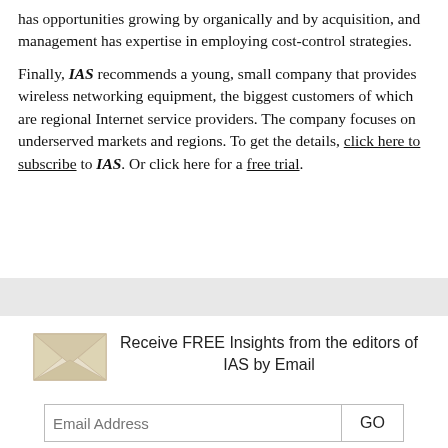has opportunities growing by organically and by acquisition, and management has expertise in employing cost-control strategies.
Finally, IAS recommends a young, small company that provides wireless networking equipment, the biggest customers of which are regional Internet service providers. The company focuses on underserved markets and regions. To get the details, click here to subscribe to IAS. Or click here for a free trial.
[Figure (other): Gray horizontal divider bar]
[Figure (infographic): Email subscription section with envelope icon, text 'Receive FREE Insights from the editors of IAS by Email', email address input field, and GO button]